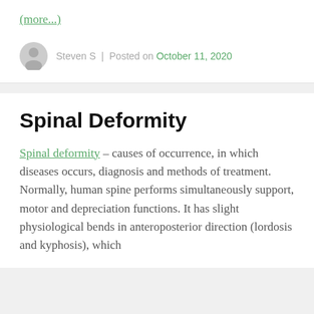(more...)
Steven S  |  Posted on October 11, 2020
Spinal Deformity
Spinal deformity – causes of occurrence, in which diseases occurs, diagnosis and methods of treatment. Normally, human spine performs simultaneously support, motor and depreciation functions. It has slight physiological bends in anteroposterior direction (lordosis and kyphosis), which